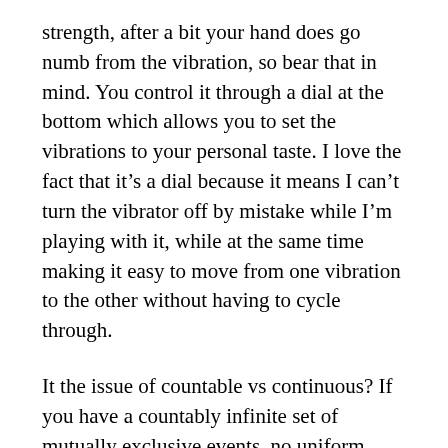strength, after a bit your hand does go numb from the vibration, so bear that in mind. You control it through a dial at the bottom which allows you to set the vibrations to your personal taste. I love the fact that it’s a dial because it means I can’t turn the vibrator off by mistake while I’m playing with it, while at the same time making it easy to move from one vibration to the other without having to cycle through.
It the issue of countable vs continuous? If you have a countably infinite set of mutually exclusive events, no uniform distribution will do, since you can count their individual probabilities and add them. If the probability of